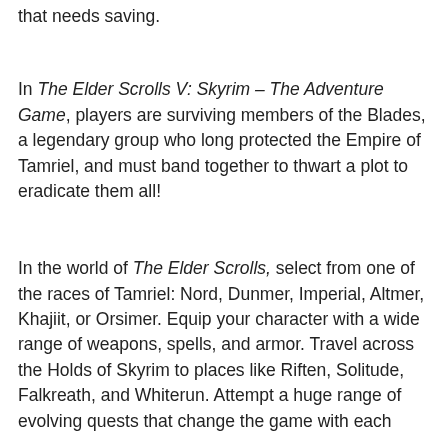that needs saving.
In The Elder Scrolls V: Skyrim – The Adventure Game, players are surviving members of the Blades, a legendary group who long protected the Empire of Tamriel, and must band together to thwart a plot to eradicate them all!
In the world of The Elder Scrolls, select from one of the races of Tamriel: Nord, Dunmer, Imperial, Altmer, Khajiit, or Orsimer. Equip your character with a wide range of weapons, spells, and armor. Travel across the Holds of Skyrim to places like Riften, Solitude, Falkreath, and Whiterun. Attempt a huge range of evolving quests that change the game with each